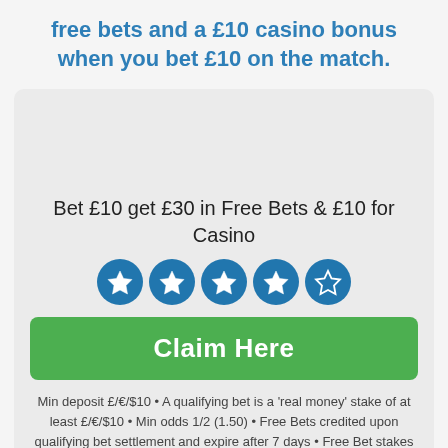free bets and a £10 casino bonus when you bet £10 on the match.
Bet £10 get £30 in Free Bets & £10 for Casino
[Figure (infographic): Five star rating circles, four filled blue stars and one empty/outline star, on blue circle backgrounds.]
Claim Here
Min deposit £/€/$10 • A qualifying bet is a 'real money' stake of at least £/€/$10 • Min odds 1/2 (1.50) • Free Bets credited upon qualifying bet settlement and expire after 7 days • Free Bet stakes not included in returns • Casino Bonus credited within 3 days • Terms Apply